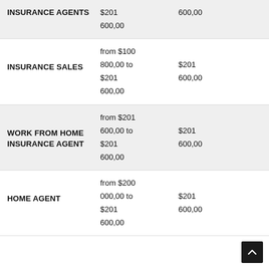| Category | Value Range 1 | Value Range 2 |
| --- | --- | --- |
| INSURANCE AGENTS | $201
600,00
600,00 | 600,00 |
| INSURANCE SALES | from $100
800,00 to
$201
600,00 | $201
600,00 |
| WORK FROM HOME INSURANCE AGENT | from $201
600,00 to
$201
600,00 | $201
600,00 |
| HOME AGENT | from $200
000,00 to
$201
600,00 | $201
600,00 |